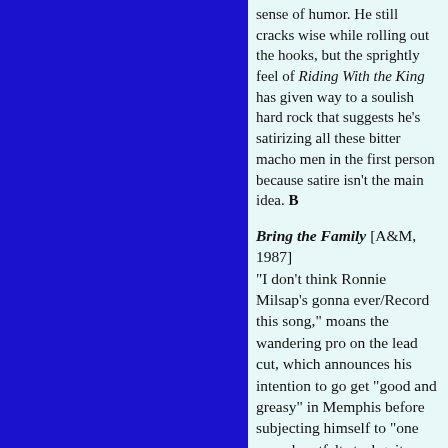sense of humor. He still cracks wise while rolling out the hooks, but the sprightly feel of Riding With the King has given way to a soulish hard rock that suggests he's satirizing all these bitter macho men in the first person because satire isn't the main idea. B
Bring the Family [A&M, 1987] "I don't think Ronnie Milsap's gonna ever/Record this song," moans the wandering pro on the lead cut, which announces his intention to go get "good and greasy" in Memphis before subjecting himself to "one more heartfelt steel guitar chord" in the Music City he calls home. But now more than ever he seems to